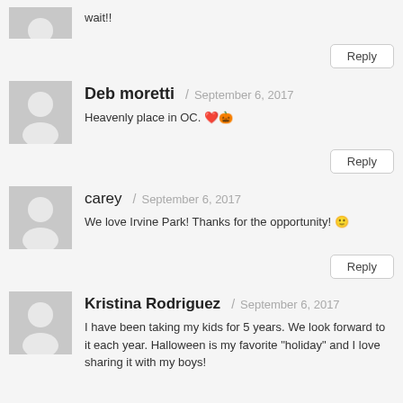wait!!
Reply
Deb moretti / September 6, 2017
Heavenly place in OC. ❤️🎃
Reply
carey / September 6, 2017
We love Irvine Park! Thanks for the opportunity! 🙂
Reply
Kristina Rodriguez / September 6, 2017
I have been taking my kids for 5 years. We look forward to it each year. Halloween is my favorite "holiday" and I love sharing it with my boys!